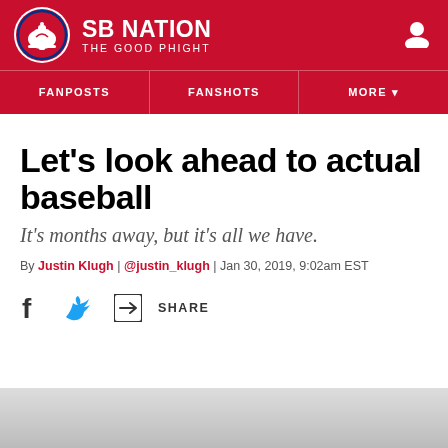SB NATION — THE GOOD PHIGHT
FANPOSTS | FANSHOTS | MORE
Let's look ahead to actual baseball
It's months away, but it's all we have.
By Justin Klugh | @justin_klugh | Jan 30, 2019, 9:02am EST
SHARE